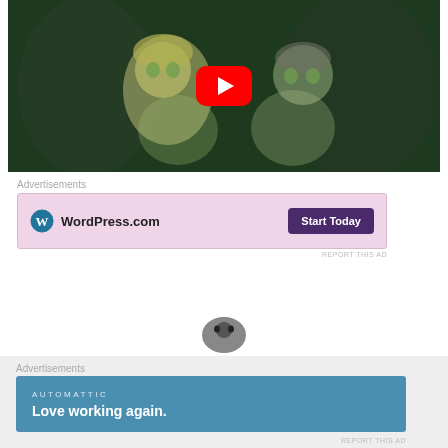[Figure (screenshot): Anime screenshot showing two young anime characters in a dark forest setting, with a YouTube play button overlay in the center.]
Advertisements
[Figure (screenshot): WordPress.com advertisement banner with pink background, WordPress logo on the left and 'Start Today' purple button on the right.]
REPORT THIS AD
[Figure (screenshot): Partial view of a small figure/icon at the bottom center of the page.]
Advertisements
[Figure (screenshot): Automattic advertisement banner with blue background, showing 'AUTOMATTIC' in small caps and 'Love working again.' tagline.]
REPORT THIS AD
[Figure (other): Close/dismiss button (X in circle) on the right side of the bottom ad overlay.]